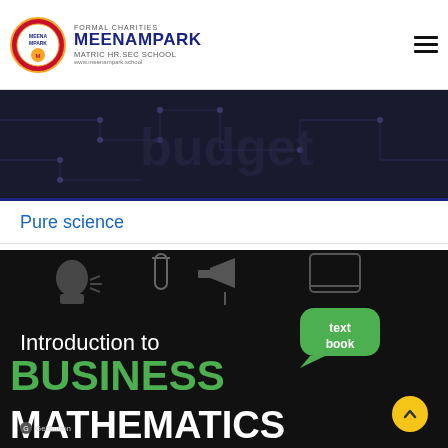FORMAL CHARITIES MEENAMPARK MATRIC HR.SEC SCHOOL
[Figure (illustration): Dark technology/circuit board hero banner with electronic circuit pattern overlay in dark gray tones]
Pure science
[Figure (illustration): Introduction to BUSINESS MATHEMATICS textbook cover - dark background with green BUSINESS MATHEMATICS text in large bold letters, white 'Introduction to' text, green speech bubble with 'text book', science/education icons including megaphone, test tube, human head silhouette, mobile phone]